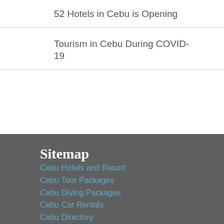52 Hotels in Cebu is Opening
Tourism in Cebu During COVID-19
Sitemap
Cebu Hotels and Resort
Cebu Tour Packages
Cebu Diving Packages
Cebu Car Rentals
Cebu Directory
Recent Posts